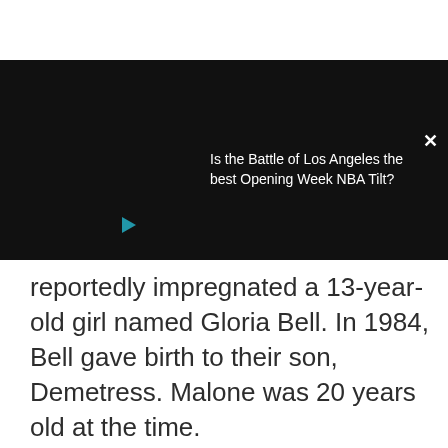[Figure (screenshot): Black video player overlay with close button (×) and text 'Is the Battle of Los Angeles the best Opening Week NBA Tilt?' and a small blue play icon]
reportedly impregnated a 13-year-old girl named Gloria Bell. In 1984, Bell gave birth to their son, Demetress. Malone was 20 years old at the time.
ADVERTISEMENT